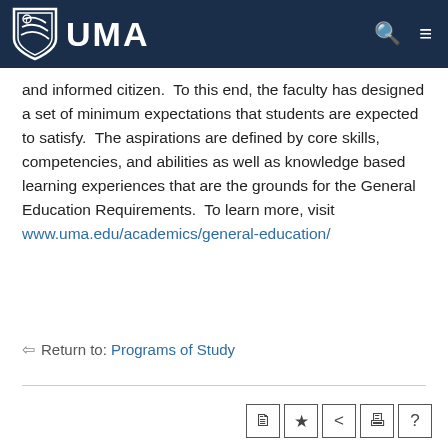UMA
and informed citizen.  To this end, the faculty has designed a set of minimum expectations that students are expected to satisfy.  The aspirations are defined by core skills, competencies, and abilities as well as knowledge based learning experiences that are the grounds for the General Education Requirements.  To learn more, visit www.uma.edu/academics/general-education/
Return to: Programs of Study